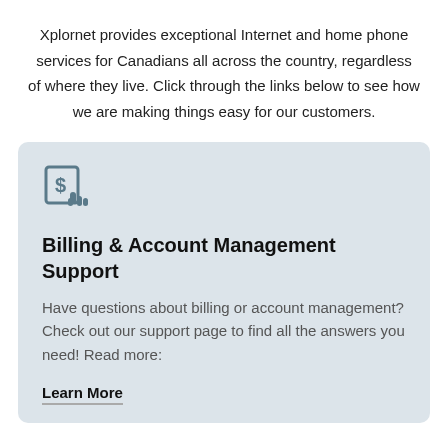Xplornet provides exceptional Internet and home phone services for Canadians all across the country, regardless of where they live. Click through the links below to see how we are making things easy for our customers.
[Figure (illustration): Icon of a dollar sign bill with a hand/cursor, representing billing]
Billing & Account Management Support
Have questions about billing or account management? Check out our support page to find all the answers you need! Read more:
Learn More